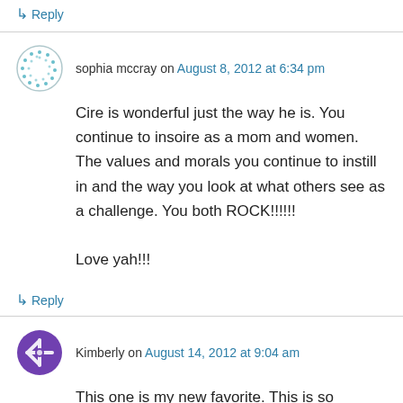↳ Reply
sophia mccray on August 8, 2012 at 6:34 pm
Cire is wonderful just the way he is. You continue to insoire as a mom and women. The values and morals you continue to instill in and the way you look at what others see as a challenge. You both ROCK!!!!!!

Love yah!!!
↳ Reply
Kimberly on August 14, 2012 at 9:04 am
This one is my new favorite. This is so incredibly